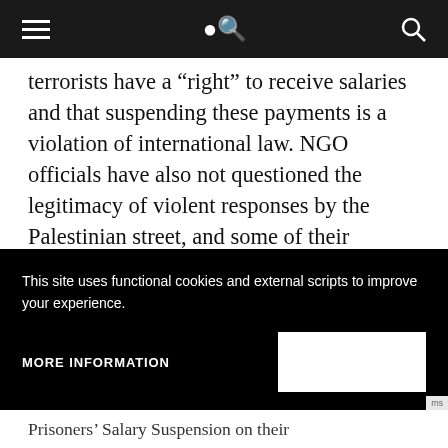terrorists have a “right” to receive salaries and that suspending these payments is a violation of international law. NGO officials have also not questioned the legitimacy of violent responses by the Palestinian street, and some of their statements can be interpreted as veiled threats of violence meant to prevent an end to payments.”
This site uses functional cookies and external scripts to improve your experience.
MORE INFORMATION
Prisoners’ Salary Suspension on their